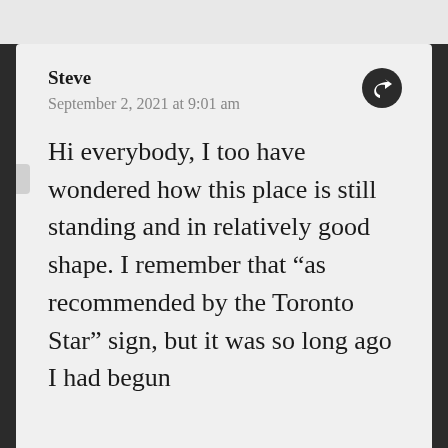Steve
September 2, 2021 at 9:01 am
Hi everybody, I too have wondered how this place is still standing and in relatively good shape. I remember that “as recommended by the Toronto Star” sign, but it was so long ago I had begun